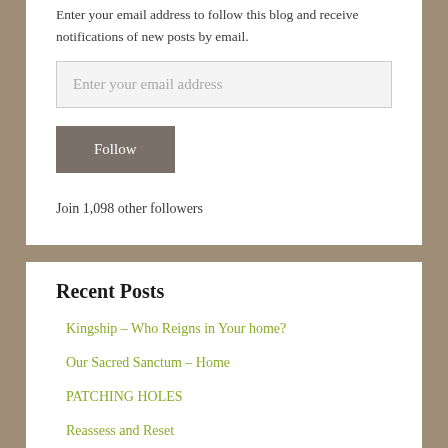Enter your email address to follow this blog and receive notifications of new posts by email.
Enter your email address
Follow
Join 1,098 other followers
Recent Posts
Kingship – Who Reigns in Your home?
Our Sacred Sanctum – Home
PATCHING HOLES
Reassess and Reset